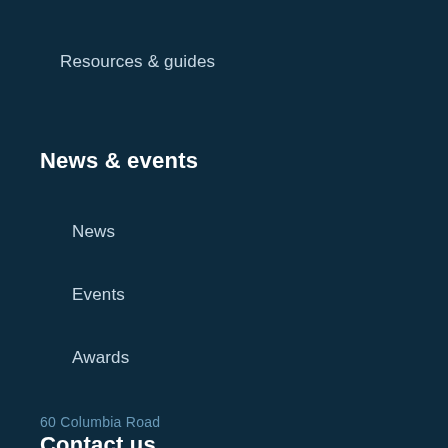Resources & guides
News & events
News
Events
Awards
Contact us
Careers
60 Columbia Road